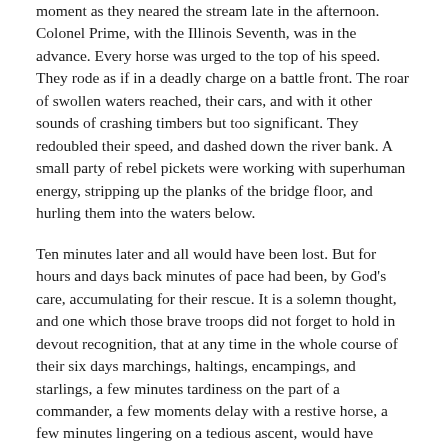moment as they neared the stream late in the afternoon. Colonel Prime, with the Illinois Seventh, was in the advance. Every horse was urged to the top of his speed. They rode as if in a deadly charge on a battle front. The roar of swollen waters reached, their cars, and with it other sounds of crashing timbers but too significant. They redoubled their speed, and dashed down the river bank. A small party of rebel pickets were working with superhuman energy, stripping up the planks of the bridge floor, and hurling them into the waters below.
Ten minutes later and all would have been lost. But for hours and days back minutes of pace had been, by God's care, accumulating for their rescue. It is a solemn thought, and one which those brave troops did not forget to hold in devout recognition, that at any time in the whole course of their six days marchings, haltings, encampings, and starlings, a few minutes tardiness on the part of a commander, a few moments delay with a restive horse, a few minutes lingering on a tedious ascent, would have brought them too late to the Pearl River bridge, and have made to all of them the difference between life and death.
A short skirmish disposed of the rebel pickets, and the raiders rode on — on into the night, and through the night, and through the next day, without halting, except at the town of Decatur, where they